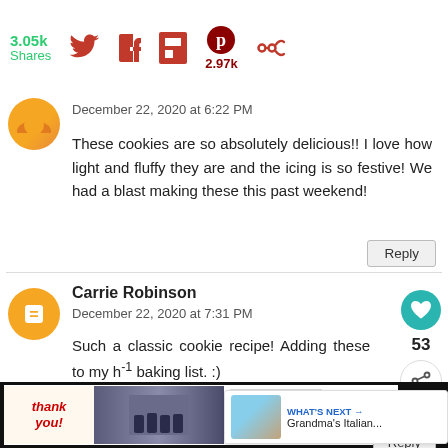3.05k Shares | Social share icons | 2.97k Pinterest
December 22, 2020 at 6:22 PM
These cookies are so absolutely delicious!! I love how light and fluffy they are and the icing is so festive! We had a blast making these this past weekend!
Carrie Robinson
December 22, 2020 at 7:31 PM
Such a classic cookie recipe! Adding these to my h... baking list. :)
[Figure (screenshot): WHAT'S NEXT - Grandma's Italian... teaser with photo]
[Figure (photo): Advertisement banner: Thank you Operation Gratitude with firefighters photo]